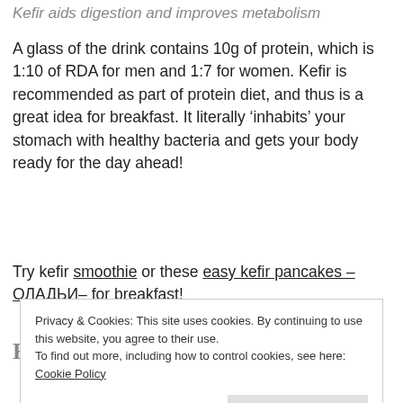Kefir aids digestion and improves metabolism
A glass of the drink contains 10g of protein, which is 1:10 of RDA for men and 1:7 for women. Kefir is recommended as part of protein diet, and thus is a great idea for breakfast. It literally ‘inhabits’ your stomach with healthy bacteria and gets your body ready for the day ahead!
Try kefir smoothie or these easy kefir pancakes – ОЛАДЬИ– for breakfast!
Before going to bed
Privacy & Cookies: This site uses cookies. By continuing to use this website, you agree to their use.
To find out more, including how to control cookies, see here: Cookie Policy